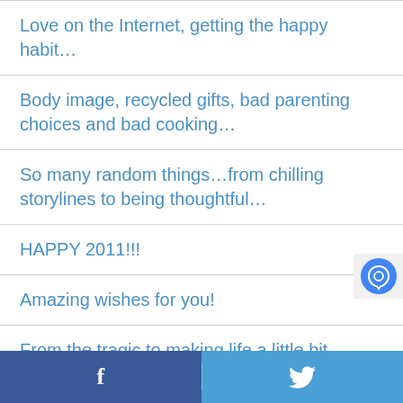Love on the Internet, getting the happy habit…
Body image, recycled gifts, bad parenting choices and bad cooking…
So many random things…from chilling storylines to being thoughtful…
HAPPY 2011!!!
Amazing wishes for you!
From the tragic to making life a little bit better…
Facebook | Twitter share bar